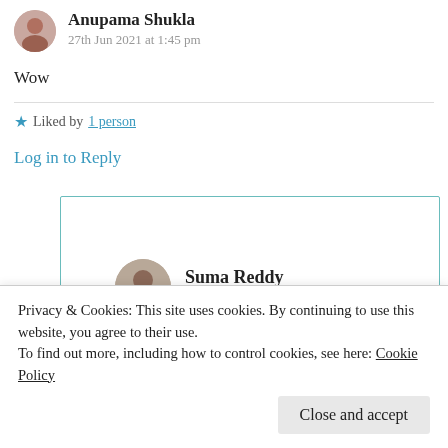[Figure (illustration): Circular avatar photo of a person (Anupama Shukla)]
Anupama Shukla
27th Jun 2021 at 1:45 pm
Wow
★ Liked by 1 person
Log in to Reply
[Figure (illustration): Circular avatar photo of Suma Reddy]
Suma Reddy
27th Jun 2021 at 3:06 pm
Log in to Reply
Privacy & Cookies: This site uses cookies. By continuing to use this website, you agree to their use.
To find out more, including how to control cookies, see here: Cookie Policy
Close and accept